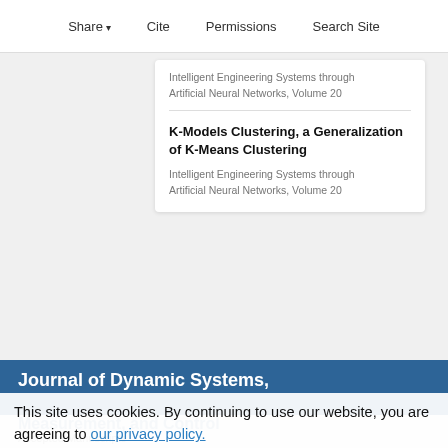Share  Cite  Permissions  Search Site
Intelligent Engineering Systems through Artificial Neural Networks, Volume 20
K-Models Clustering, a Generalization of K-Means Clustering
Intelligent Engineering Systems through Artificial Neural Networks, Volume 20
Journal of Dynamic Systems, Measurement, and Control
This site uses cookies. By continuing to use our website, you are agreeing to our privacy policy.
Accept
Accepted Manuscripts